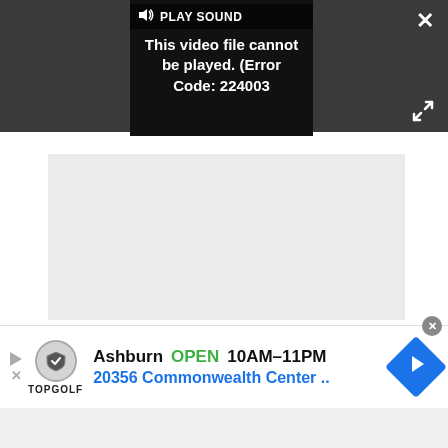[Figure (screenshot): Video player showing error: 'This video file cannot be played. (Error Code: 224003)' with PLAY SOUND button, close X button, and expand icon on dark background]
[Figure (screenshot): Light gray placeholder content area below video player]
With the help of the site, you can narrow down your corn maze options to your state, the nearby area, or ...
[Figure (screenshot): Topgolf advertisement banner: Ashburn OPEN 10AM–11PM, 20356 Commonwealth Center..]